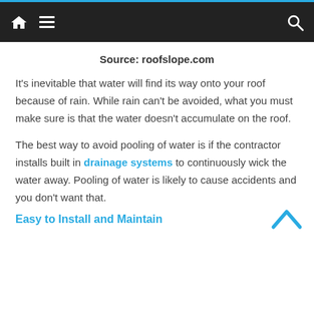Navigation bar with home icon, menu icon, and search icon
Source: roofslope.com
It's inevitable that water will find its way onto your roof because of rain. While rain can't be avoided, what you must make sure is that the water doesn't accumulate on the roof.
The best way to avoid pooling of water is if the contractor installs built in drainage systems to continuously wick the water away. Pooling of water is likely to cause accidents and you don't want that.
Easy to Install and Maintain